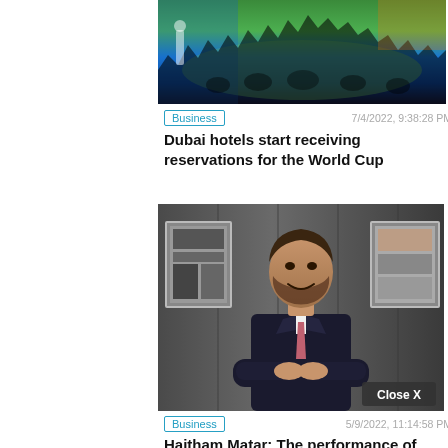[Figure (photo): Crowd of people at an indoor exhibition or conference with green floor and blue backdrop]
Business
7/4/2022, 9:38:28 PM
Dubai hotels start receiving reservations for the World Cup
[Figure (photo): Man in dark suit with pink tie, arms crossed, smiling, standing in front of framed pictures on a wood-paneled wall. Close X button visible.]
Business
5/9/2022, 11:14:58 PM
Haitham Matar: The performance of